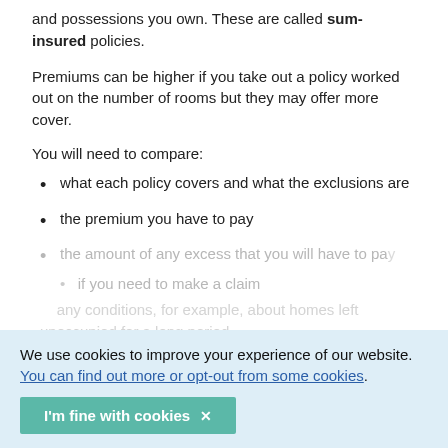and possessions you own. These are called sum-insured policies.
Premiums can be higher if you take out a policy worked out on the number of rooms but they may offer more cover.
You will need to compare:
what each policy covers and what the exclusions are
the premium you have to pay
the amount of any excess that you will have to pay
We use cookies to improve your experience of our website. You can find out more or opt-out from some cookies.
I'm fine with cookies ×